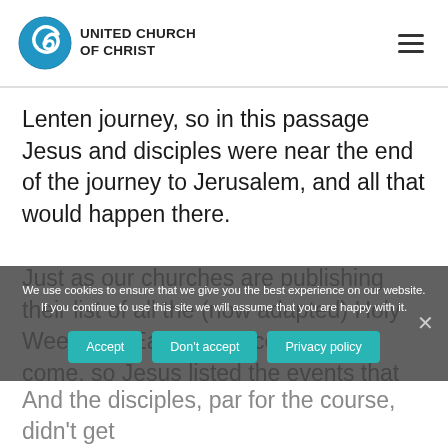UNITED CHURCH OF CHRIST
Lenten journey, so in this passage Jesus and disciples were near the end of the journey to Jerusalem, and all that would happen there.
Just as our churches are publishing their list of all the (now adapted) Holy Week and Easter services soon to come, so Jesus listed the events that lay ahead.
We use cookies to ensure that we give you the best experience on our website. If you continue to use this site we will assume that you are happy with it.
And the disciples, par for the course, didn't get